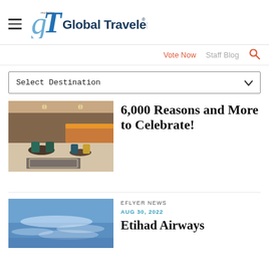[Figure (logo): Global Traveler magazine logo with stylized 'gT' monogram in blue and the text 'Global Traveler' in dark blue]
Vote Now  Staff Blog
Select Destination
6,000 Reasons and More to Celebrate!
[Figure (photo): Restaurant interior with modern decor, tables and chairs, warm lighting]
EFLYER NEWS
AUG 30, 2022
Etihad Airways
[Figure (photo): Blue sky with wispy clouds, aerial view]